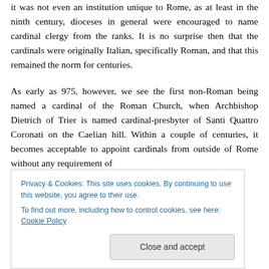it was not even an institution unique to Rome, as at least in the ninth century, dioceses in general were encouraged to name cardinal clergy from the ranks. It is no surprise then that the cardinals were originally Italian, specifically Roman, and that this remained the norm for centuries.
As early as 975, however, we see the first non-Roman being named a cardinal of the Roman Church, when Archbishop Dietrich of Trier is named cardinal-presbyter of Santi Quattro Coronati on the Caelian hill. Within a couple of centuries, it becomes acceptable to appoint cardinals from outside of Rome without any requirement of
Privacy & Cookies: This site uses cookies. By continuing to use this website, you agree to their use.
To find out more, including how to control cookies, see here: Cookie Policy
century, and was formally limited to twenty, in the